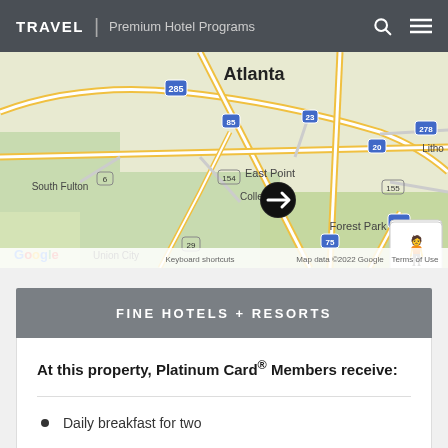TRAVEL | Premium Hotel Programs
[Figure (map): Google Maps view centered on Atlanta, Georgia area showing East Point, South Fulton, College Park, Forest Park, Union City, and surrounding highways including I-285, I-85, I-20, I-75, I-675, and routes 23, 29, 154, 155, 278. A location marker (airplane icon) is shown near College Park. Map data ©2022 Google.]
FINE HOTELS + RESORTS
At this property, Platinum Card® Members receive:
Daily breakfast for two